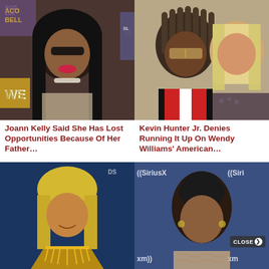[Figure (photo): Woman with long black hair and sunglasses at a WE TV event, Taco Bell signage visible in background]
[Figure (photo): Young man with dreads wearing red jacket next to a blonde woman]
Joann Kelly Said She Has Lost Opportunities Because Of Her Father…
Kevin Hunter Jr. Denies Running It Up On Wendy Williams’ American…
[Figure (photo): Woman with blonde hair wearing a gold/yellow dress at an awards event]
[Figure (photo): Woman with dark updo hairstyle at SiriusXM event]